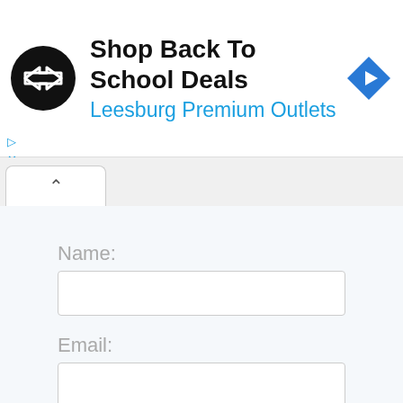[Figure (screenshot): Advertisement banner for Leesburg Premium Outlets with logo, title 'Shop Back To School Deals', subtitle 'Leesburg Premium Outlets', and a blue navigation/directions icon on the right.]
Name:
Email:
Sign Up for Email Alerts